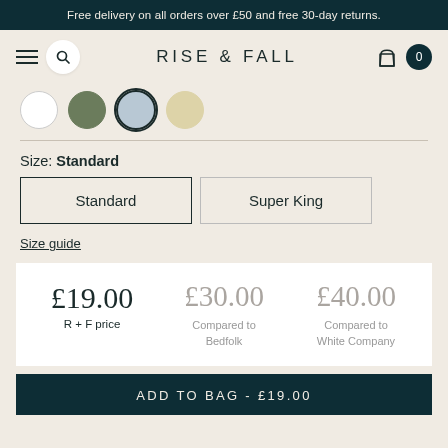Free delivery on all orders over £50 and free 30-day returns.
RISE & FALL
[Figure (other): Four color swatches: white, green, blue (selected), cream]
Size: Standard
Standard
Super King
Size guide
|  | Price | Comparison 1 | Comparison 2 |
| --- | --- | --- | --- |
| Amount | £19.00 | £30.00 | £40.00 |
| Label | R + F price | Compared to Bedfolk | Compared to White Company |
ADD TO BAG - £19.00